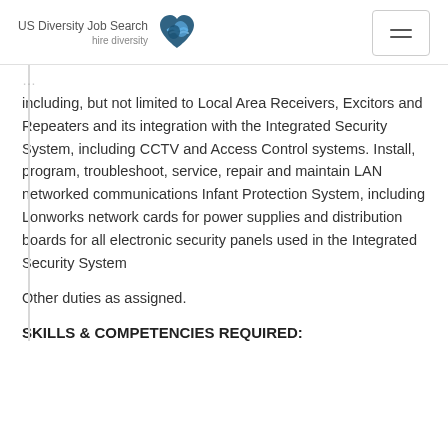US Diversity Job Search hire diversity
including, but not limited to Local Area Receivers, Excitors and Repeaters and its integration with the Integrated Security System, including CCTV and Access Control systems. Install, program, troubleshoot, service, repair and maintain LAN networked communications Infant Protection System, including Lonworks network cards for power supplies and distribution boards for all electronic security panels used in the Integrated Security System
Other duties as assigned.
SKILLS & COMPETENCIES REQUIRED: